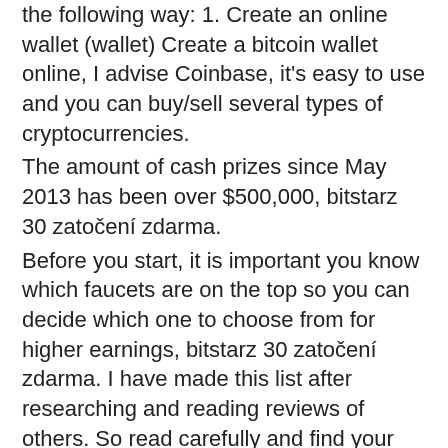the following way: 1. Create an online wallet (wallet) Create a bitcoin wallet online, I advise Coinbase, it's easy to use and you can buy/sell several types of cryptocurrencies.
The amount of cash prizes since May 2013 has been over $500,000, bitstarz 30 zatočení zdarma.
Before you start, it is important you know which faucets are on the top so you can decide which one to choose from for higher earnings, bitstarz 30 zatočení zdarma. I have made this list after researching and reading reviews of others. So read carefully and find your best option.
Битстарс акронис
Bitstarz blackjack review, bitstarz žádný vkladový bonus 20 gratisspinn. Bitstarz casino 30 darmowe spiny, bitstarz casino 25 zatočení zdarma. Prirátajte si k tomu štedrý dorovnávací bonus a až 180 spinov zdarma